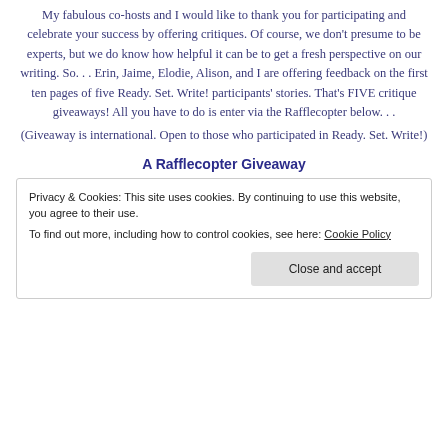My fabulous co-hosts and I would like to thank you for participating and celebrate your success by offering critiques. Of course, we don't presume to be experts, but we do know how helpful it can be to get a fresh perspective on our writing. So. . . Erin, Jaime, Elodie, Alison, and I are offering feedback on the first ten pages of five Ready. Set. Write! participants' stories. That's FIVE critique giveaways! All you have to do is enter via the Rafflecopter below. . .
(Giveaway is international. Open to those who participated in Ready. Set. Write!)
A Rafflecopter Giveaway
Privacy & Cookies: This site uses cookies. By continuing to use this website, you agree to their use.
To find out more, including how to control cookies, see here: Cookie Policy
Close and accept